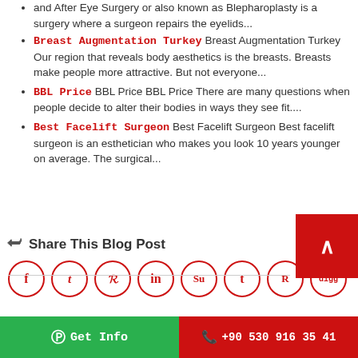and After Eye Surgery or also known as Blepharoplasty is a surgery where a surgeon repairs the eyelids...
Breast Augmentation Turkey Breast Augmentation Turkey Our region that reveals body aesthetics is the breasts. Breasts make people more attractive. But not everyone...
BBL Price BBL Price BBL Price There are many questions when people decide to alter their bodies in ways they see fit....
Best Facelift Surgeon Best Facelift Surgeon Best facelift surgeon is an esthetician who makes you look 10 years younger on average. The surgical...
Share This Blog Post
[Figure (infographic): Social media share icons in circles: Facebook, Twitter, Pinterest, LinkedIn, StumbleUpon, Tumblr, Reddit, Digg]
Get Info | +90 530 916 35 41